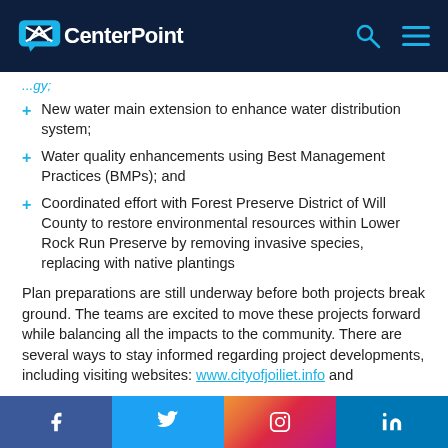CenterPoint
...gy;
New water main extension to enhance water distribution system;
Water quality enhancements using Best Management Practices (BMPs); and
Coordinated effort with Forest Preserve District of Will County to restore environmental resources within Lower Rock Run Preserve by removing invasive species, replacing with native plantings
Plan preparations are still underway before both projects break ground. The teams are excited to move these projects forward while balancing all the impacts to the community. There are several ways to stay informed regarding project developments, including visiting websites: www.cityofjoiliet.info and
Facebook | Twitter | Instagram | LinkedIn